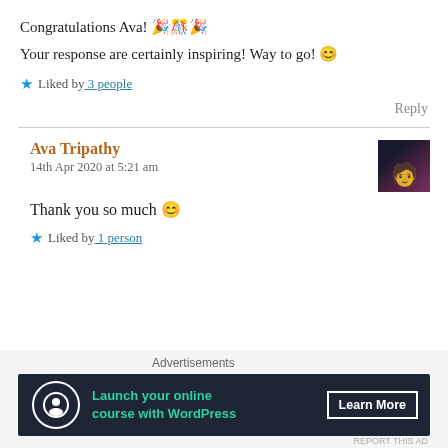Congratulations Ava! 🎉🎊🎉
Your response are certainly inspiring! Way to go! 😊
★ Liked by 3 people
Reply
Ava Tripathy
14th Apr 2020 at 5:21 am
[Figure (photo): Avatar thumbnail showing a silhouette figure against a dark purple/red background]
Thank you so much 😊
★ Liked by 1 person
Advertisements
Launch your online course with WordPress — Learn More